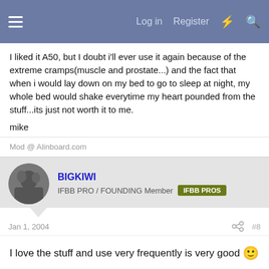Log in  Register
I liked it A50, but I doubt i'll ever use it again because of the extreme cramps(muscle and prostate...) and the fact that when i would lay down on my bed to go to sleep at night, my whole bed would shake everytime my heart pounded from the stuff...its just not worth it to me.

mike
Mod @ Alinboard.com
BIGKIWI
IFBB PRO / FOUNDING Member  IFBB PROS
Jan 1, 2004  #8
I love the stuff and use very frequently is very good 🙂
PROUDLY SPONSORED BY:SYNTHETEK - Hardcore products with double money back guarantee!